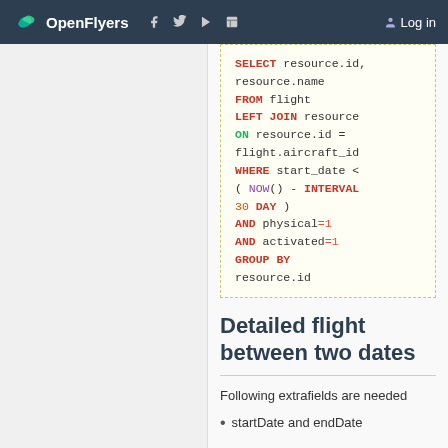OpenFlyers | Log in
[Figure (screenshot): SQL code block showing a query with SELECT, FROM, LEFT JOIN, ON, WHERE, AND, GROUP BY clauses using resource and flight tables]
Detailed flight between two dates
Following extrafields are needed
startDate and endDate